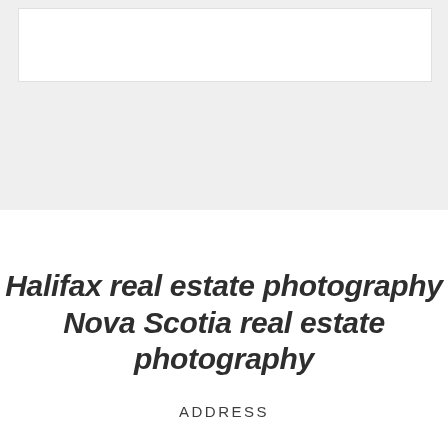[Figure (other): Gray background section with a white rectangular box at the top of the page]
Halifax real estate photography Nova Scotia real estate photography
ADDRESS